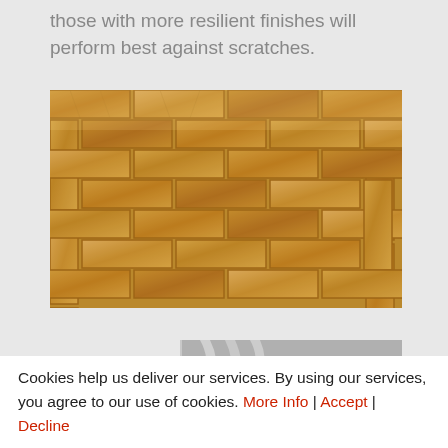those with more resilient finishes will perform best against scratches.
[Figure (photo): Parquet wood flooring in a herringbone/basket-weave pattern, light oak color with natural wood grain visible]
[Figure (photo): Partial view of a room interior, appears to show white furniture or curtains, partially cropped]
Cookies help us deliver our services. By using our services, you agree to our use of cookies. More Info | Accept | Decline